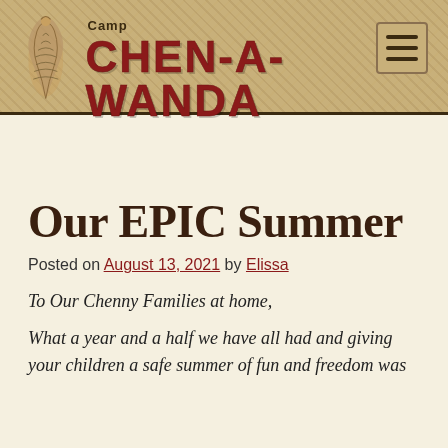Camp CHEN-A-WANDA
Our EPIC Summer
Posted on August 13, 2021 by Elissa
To Our Chenny Families at home,
What a year and a half we have all had and giving your children a safe summer of fun and freedom was